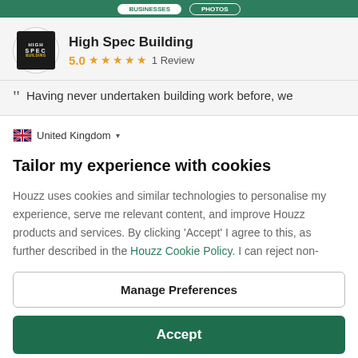[Figure (screenshot): Top navigation bar with green background and white button elements]
[Figure (logo): High Spec Building logo - black square with white text HIGH SPEC BUILDING]
High Spec Building
5.0 ★★★★★ 1 Review
Having never undertaken building work before, we
🇬🇧 United Kingdom ▾
Tailor my experience with cookies
Houzz uses cookies and similar technologies to personalise my experience, serve me relevant content, and improve Houzz products and services. By clicking 'Accept' I agree to this, as further described in the Houzz Cookie Policy. I can reject non-
Manage Preferences
Accept